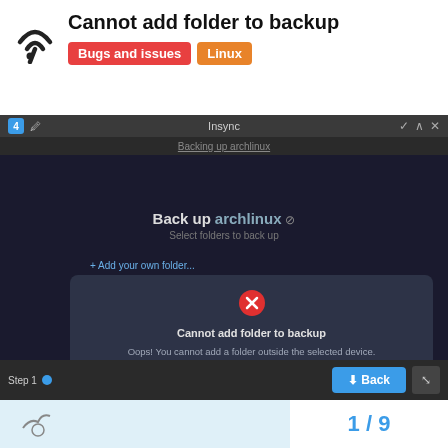Cannot add folder to backup
Bugs and issues  Linux
[Figure (screenshot): Screenshot of the Insync application on Linux showing a dark-themed backup setup window. A modal dialog is displayed with a red X icon, the title 'Cannot add folder to backup', the message 'Oops! You cannot add a folder outside the selected device.', and two buttons: 'Close' and 'Select another folder'. The bottom bar shows 'Step 1' and a blue 'Back' button. Below the screenshot is a pagination indicator showing '1 / 9'.]
1 / 9